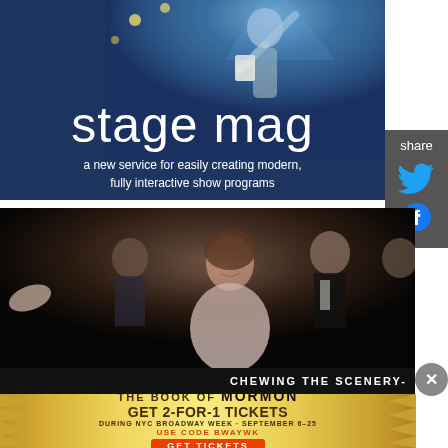[Figure (illustration): Stage Mag advertisement banner with dark blue background, person on stage with spotlight, large white text 'stage mag' and subtitle 'a new service for easily creating modern, fully interactive show programs']
[Figure (photo): Theater performance photo showing actors on stage, a smiling woman in center foreground in a light-colored outfit, other cast members in formal attire in background, dark stage setting]
CHEWING THE SCENERY-
[Figure (illustration): Advertisement for The Book of Mormon musical: gold/glitter background with starburst edges. Text: 'THE BOOK OF MORMON', 'GET 2-FOR-1 TICKETS', 'DURING NYC BROADWAY WEEK · SEPTEMBER 6-25', 'USE CODE BWAYWK', orange button 'GET TICKETS']